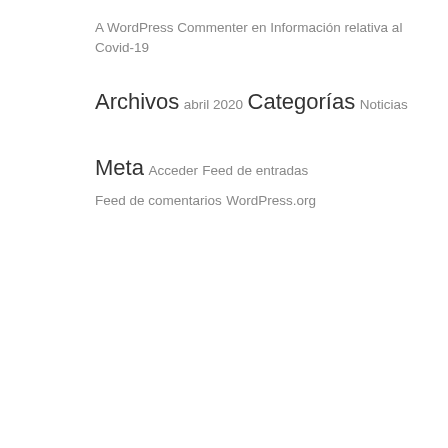A WordPress Commenter en Información relativa al Covid-19
Archivos
abril 2020
Categorías
Noticias
Meta
Acceder
Feed de entradas
Feed de comentarios
WordPress.org